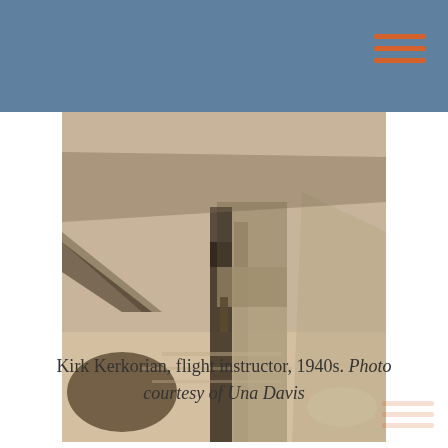[Figure (photo): Sepia-toned photograph of Kirk Kerkorian as a flight instructor in the 1940s, showing a person standing near aircraft components.]
Kirk Kerkorian, flight instructor, 1940s. Photo courtesy of Una Davis